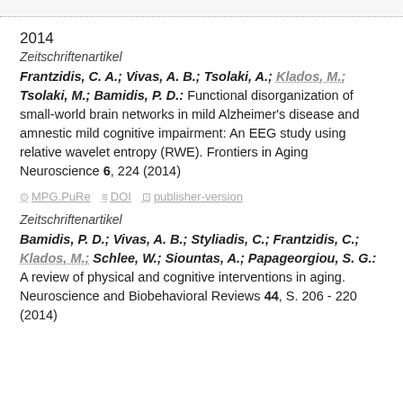2014
Zeitschriftenartikel
Frantzidis, C. A.; Vivas, A. B.; Tsolaki, A.; Klados, M.; Tsolaki, M.; Bamidis, P. D.: Functional disorganization of small-world brain networks in mild Alzheimer's disease and amnestic mild cognitive impairment: An EEG study using relative wavelet entropy (RWE). Frontiers in Aging Neuroscience 6, 224 (2014)
MPG.PuRe   DOI   publisher-version
Zeitschriftenartikel
Bamidis, P. D.; Vivas, A. B.; Styliadis, C.; Frantzidis, C.; Klados, M.; Schlee, W.; Siountas, A.; Papageorgiou, S. G.: A review of physical and cognitive interventions in aging. Neuroscience and Biobehavioral Reviews 44, S. 206 - 220 (2014)